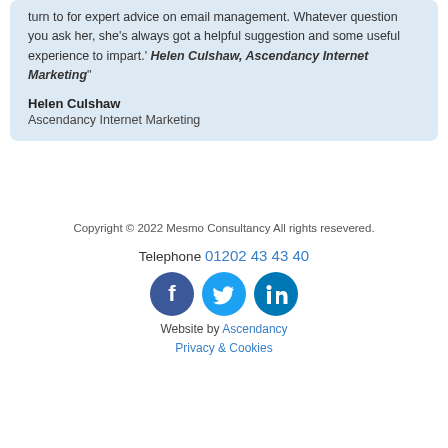turn to for expert advice on email management. Whatever question you ask her, she's always got a helpful suggestion and some useful experience to impart.' Helen Culshaw, Ascendancy Internet Marketing"
Helen Culshaw
Ascendancy Internet Marketing
Copyright © 2022 Mesmo Consultancy All rights resevered.
Telephone 01202 43 43 40
Website by Ascendancy
Privacy & Cookies